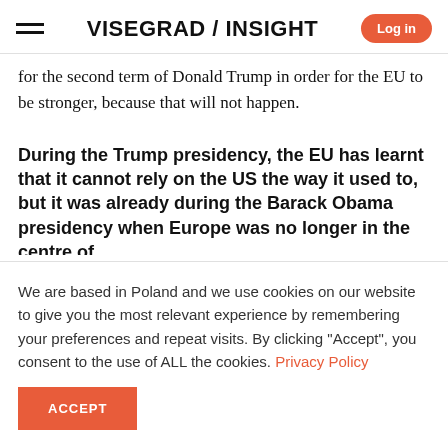VISEGRAD / INSIGHT
for the second term of Donald Trump in order for the EU to be stronger, because that will not happen.
During the Trump presidency, the EU has learnt that it cannot rely on the US the way it used to, but it was already during the Barack Obama presidency when Europe was no longer in the centre of
We are based in Poland and we use cookies on our website to give you the most relevant experience by remembering your preferences and repeat visits. By clicking "Accept", you consent to the use of ALL the cookies. Privacy Policy
ACCEPT